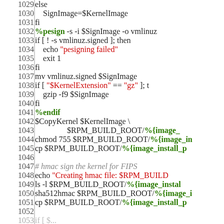[Figure (screenshot): Source code listing showing shell script lines 1029-1052 with syntax highlighting. Line numbers in grey on left, code on right with green keywords (%pesign, %endif, %{image_...}) and red strings (pesigning failed, $KernelExtension, gz, Creating hmac file).]